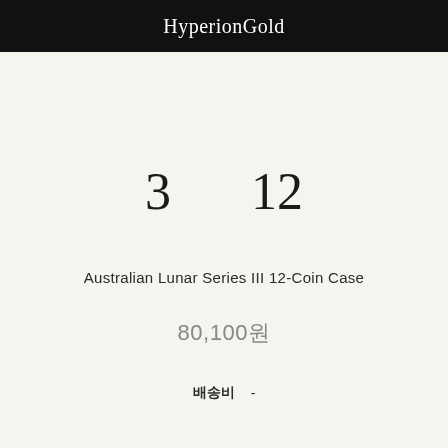HyperionGold
3   12
Australian Lunar Series III 12-Coin Case
80,100원
배송비   -